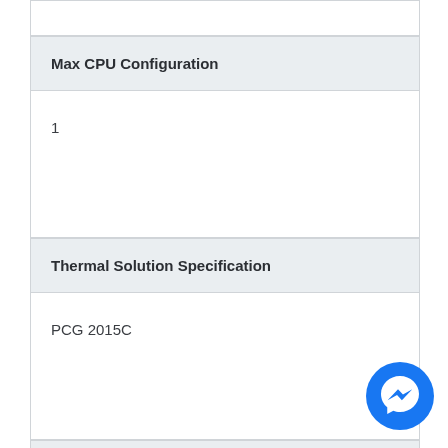Max CPU Configuration
1
Thermal Solution Specification
PCG 2015C
TJUNCTION
100°C